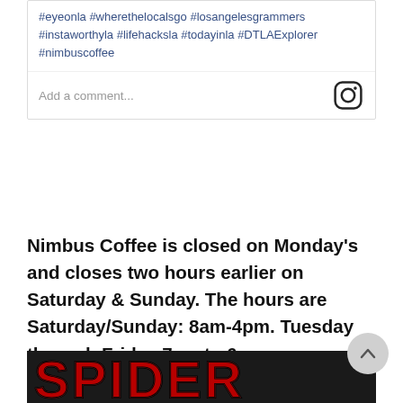#eyeonla #wherethelocalsgo #losangelesgrammers #instaworthyla #lifehacksla #todayinla #DTLAExplorer #nimbuscoffee
Add a comment...
Nimbus Coffee is closed on Monday's and closes two hours earlier on Saturday & Sunday. The hours are Saturday/Sunday: 8am-4pm. Tuesday through Friday 7am to 6pm.
[Figure (photo): Photo showing red velvet 3D letters spelling SPIDER on a dark background, with gold decorations visible at the right side and a framed certificate partially visible at the bottom.]